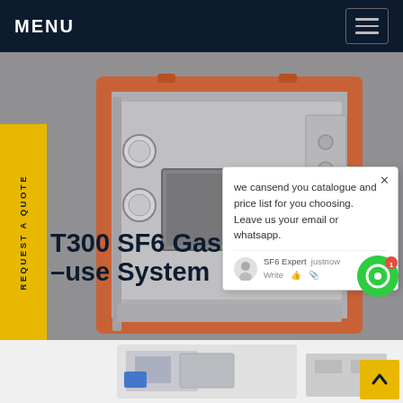MENU
[Figure (photo): SF6 gas purification machine in a red metal frame cabinet with gauges and control panel, placed on a gray background]
REQUEST A QUOTE
T300 SF6 Gas Purification and Reuse System
we cansend you catalogue and price list for you choosing. Leave us your email or whatsapp.
SF6 Expert   justnow
Write
[Figure (photo): Small SF6 gas equipment unit with blue and gray components on a white background]
[Figure (photo): Another SF6 gas handling device on white background]